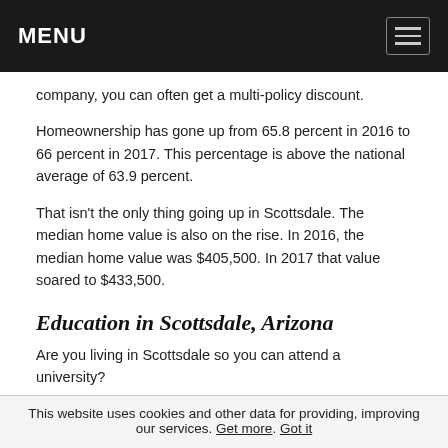MENU
company, you can often get a multi-policy discount.
Homeownership has gone up from 65.8 percent in 2016 to 66 percent in 2017. This percentage is above the national average of 63.9 percent.
That isn't the only thing going up in Scottsdale. The median home value is also on the rise. In 2016, the median home value was $405,500. In 2017 that value soared to $433,500.
Education in Scottsdale, Arizona
Are you living in Scottsdale so you can attend a university?
This website uses cookies and other data for providing, improving our services. Get more. Got it